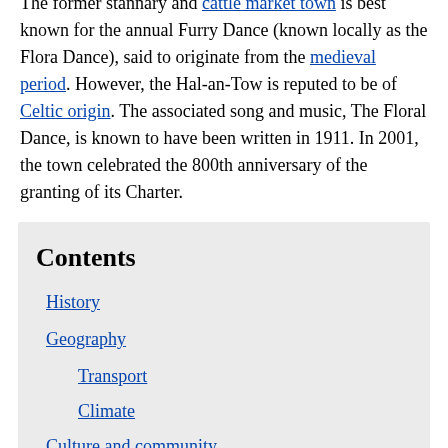The former stannary and cattle market town is best known for the annual Furry Dance (known locally as the Flora Dance), said to originate from the medieval period. However, the Hal-an-Tow is reputed to be of Celtic origin. The associated song and music, The Floral Dance, is known to have been written in 1911. In 2001, the town celebrated the 800th anniversary of the granting of its Charter.
Contents
History
Geography
Transport
Climate
Culture and community